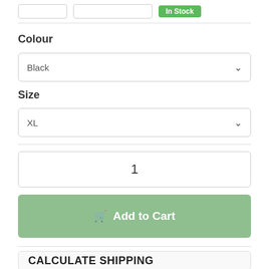[Figure (screenshot): Top partial UI row with two input boxes and a green 'In Stock' button]
Colour
[Figure (screenshot): Dropdown selector showing 'Black' with chevron arrow]
Size
[Figure (screenshot): Dropdown selector showing 'XL' with chevron arrow]
[Figure (screenshot): Quantity input box showing '1']
[Figure (screenshot): Green 'Add to Cart' button with cart icon]
[Figure (screenshot): Calculate Shipping section box at bottom]